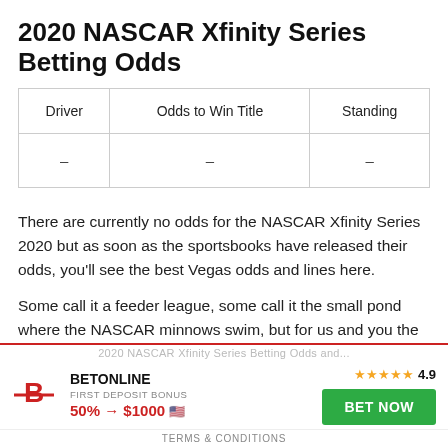2020 NASCAR Xfinity Series Betting Odds
| Driver | Odds to Win Title | Standing |
| --- | --- | --- |
| – | – | – |
There are currently no odds for the NASCAR Xfinity Series 2020 but as soon as the sportsbooks have released their odds, you'll see the best Vegas odds and lines here.
Some call it a feeder league, some call it the small pond where the NASCAR minnows swim, but for us and you the
[Figure (infographic): BetOnline advertisement bar with logo, rating of 4.9 stars, first deposit bonus of 50% → $1000 with US flag, and a green BET NOW button. Below is a TERMS & CONDITIONS footer link.]